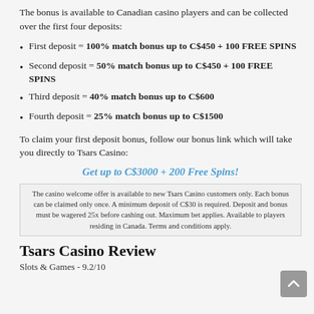The bonus is available to Canadian casino players and can be collected over the first four deposits:
First deposit = 100% match bonus up to C$450 + 100 FREE SPINS
Second deposit = 50% match bonus up to C$450 + 100 FREE SPINS
Third deposit = 40% match bonus up to C$600
Fourth deposit = 25% match bonus up to C$1500
To claim your first deposit bonus, follow our bonus link which will take you directly to Tsars Casino:
Get up to C$3000 + 200 Free Spins!
The casino welcome offer is available to new Tsars Casino customers only. Each bonus can be claimed only once. A minimum deposit of C$30 is required. Deposit and bonus must be wagered 25x before cashing out. Maximum bet applies. Available to players residing in Canada. Terms and conditions apply.
Tsars Casino Review
Slots & Games - 9.2/10